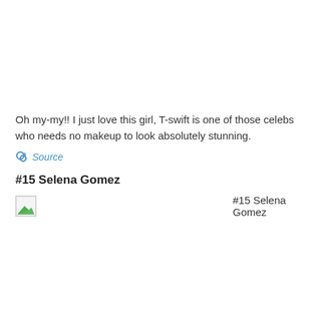Oh my-my!! I just love this girl, T-swift is one of those celebs who needs no makeup to look absolutely stunning.
Source
#15 Selena Gomez
[Figure (photo): Broken image placeholder with alt text '#15 Selena Gomez']